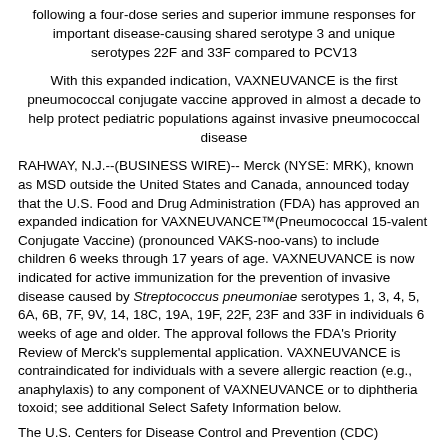following a four-dose series and superior immune responses for important disease-causing shared serotype 3 and unique serotypes 22F and 33F compared to PCV13
With this expanded indication, VAXNEUVANCE is the first pneumococcal conjugate vaccine approved in almost a decade to help protect pediatric populations against invasive pneumococcal disease
RAHWAY, N.J.--(BUSINESS WIRE)-- Merck (NYSE: MRK), known as MSD outside the United States and Canada, announced today that the U.S. Food and Drug Administration (FDA) has approved an expanded indication for VAXNEUVANCE™(Pneumococcal 15-valent Conjugate Vaccine) (pronounced VAKS-noo-vans) to include children 6 weeks through 17 years of age. VAXNEUVANCE is now indicated for active immunization for the prevention of invasive disease caused by Streptococcus pneumoniae serotypes 1, 3, 4, 5, 6A, 6B, 7F, 9V, 14, 18C, 19A, 19F, 22F, 23F and 33F in individuals 6 weeks of age and older. The approval follows the FDA's Priority Review of Merck's supplemental application. VAXNEUVANCE is contraindicated for individuals with a severe allergic reaction (e.g., anaphylaxis) to any component of VAXNEUVANCE or to diphtheria toxoid; see additional Select Safety Information below.
The U.S. Centers for Disease Control and Prevention (CDC)